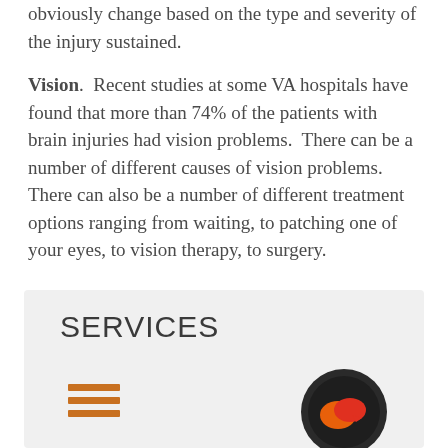obviously change based on the type and severity of the injury sustained.
Vision. Recent studies at some VA hospitals have found that more than 74% of the patients with brain injuries had vision problems. There can be a number of different causes of vision problems. There can also be a number of different treatment options ranging from waiting, to patching one of your eyes, to vision therapy, to surgery.
SERVICES
[Figure (infographic): Orange hamburger menu icon (three horizontal bars) and a dark circular chat bubble icon with orange and red speech bubbles inside]